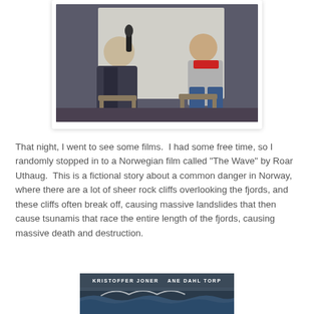[Figure (photo): Two men sitting on chairs facing each other in what appears to be a Q&A or panel discussion. The man on the left wears a dark blazer and holds a microphone. The man on the right wears a light gray jacket and a red scarf. A white screen is visible in the background.]
That night, I went to see some films.  I had some free time, so I randomly stopped in to a Norwegian film called "The Wave" by Roar Uthaug.  This is a fictional story about a common danger in Norway, where there are a lot of sheer rock cliffs overlooking the fjords, and these cliffs often break off, causing massive landslides that then cause tsunamis that race the entire length of the fjords, causing massive death and destruction.
[Figure (photo): Movie poster for a Norwegian film showing ocean waves and stormy sky. Text reads: KRISTOFFER JONER and ANE DAHL TORP at the top.]